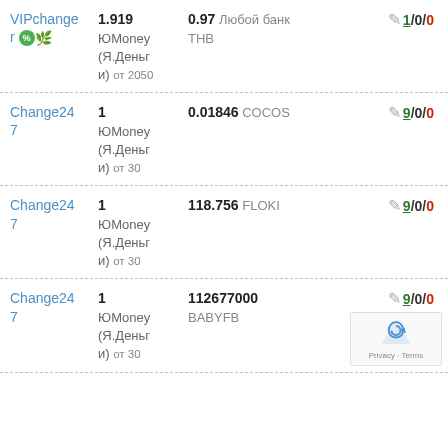| Exchanger | From | To | Reviews |
| --- | --- | --- | --- |
| VIPchanger | 1.919 ЮMoney (Я.Деньги) от 2050 | 0.97 Любой банк THB | 1/0/0 |
| Change247 | 1 ЮMoney (Я.Деньги) от 30 | 0.01846 COCOS | 9/0/0 |
| Change247 | 1 ЮMoney (Я.Деньги) от 30 | 118.756 FLOKI | 9/0/0 |
| Change247 | 1 ЮMoney (Я.Деньги) от 30 | 112677000 BABYFB | 9/0/0 |